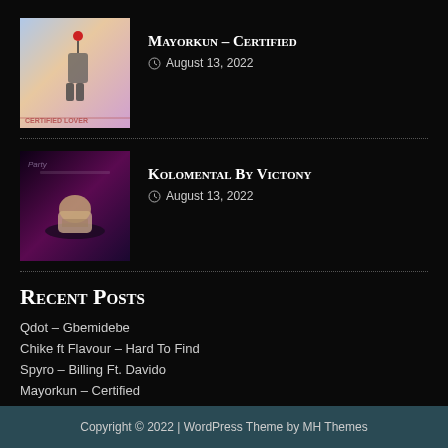[Figure (photo): Album cover for Mayorkun - Certified Lover, pastel colors with a figure holding a balloon]
Mayorkun – Certified
August 13, 2022
[Figure (photo): Dark purple concert/performance photo for Kolomental By Victony]
Kolomental By Victony
August 13, 2022
Recent Posts
Qdot – Gbemidebe
Chike ft Flavour – Hard To Find
Spyro – Billing Ft. Davido
Mayorkun – Certified
Kolomental By Victony
Copyright © 2022 | WordPress Theme by MH Themes